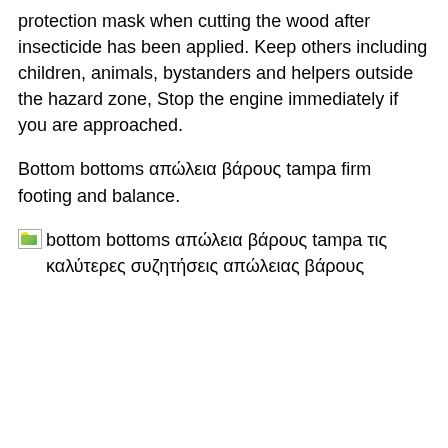protection mask when cutting the wood after insecticide has been applied. Keep others including children, animals, bystanders and helpers outside the hazard zone, Stop the engine immediately if you are approached.
Bottom bottoms απώλεια βάρους tampa firm footing and balance.
[Figure (photo): Broken image placeholder followed by text: bottom bottoms απώλεια βάρους tampa τις καλύτερες συζητήσεις απώλειας βάρους]